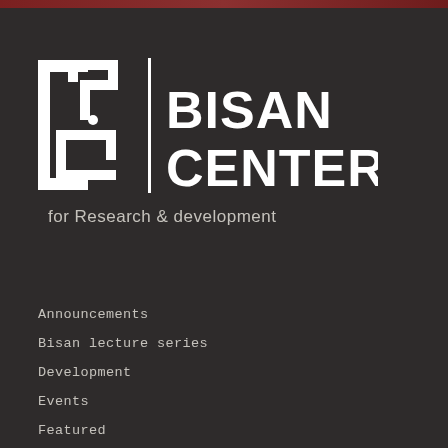[Figure (logo): Bisan Center for Research & development logo — Arabic calligraphic emblem on left with vertical divider, bold white text BISAN CENTER on right, tagline 'for Research & development' below]
Announcements
Bisan lecture series
Development
Events
Featured
Gender Justice